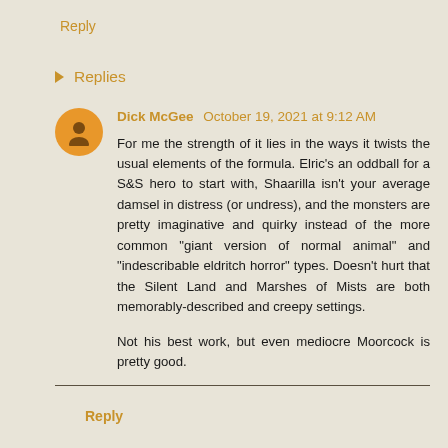Reply
Replies
Dick McGee October 19, 2021 at 9:12 AM
For me the strength of it lies in the ways it twists the usual elements of the formula. Elric's an oddball for a S&S hero to start with, Shaarilla isn't your average damsel in distress (or undress), and the monsters are pretty imaginative and quirky instead of the more common "giant version of normal animal" and "indescribable eldritch horror" types. Doesn't hurt that the Silent Land and Marshes of Mists are both memorably-described and creepy settings.

Not his best work, but even mediocre Moorcock is pretty good.
Reply